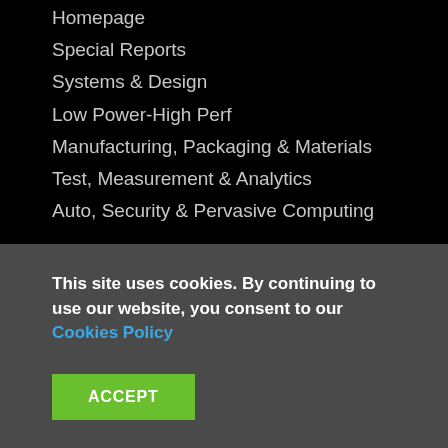Homepage
Special Reports
Systems & Design
Low Power-High Perf
Manufacturing, Packaging & Materials
Test, Measurement & Analytics
Auto, Security & Pervasive Computing
Videos
Jobs
Technical Papers
Events
Webinars
Knowledge Centers
Industry Research
Business & Startups
This site uses cookies. By continuing to use our website, you consent to our Cookies Policy
ACCEPT